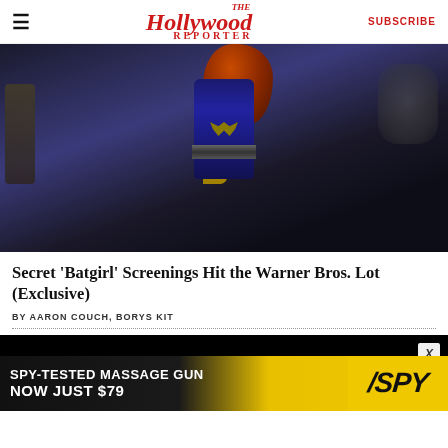The Hollywood Reporter — SUBSCRIBE
[Figure (photo): Batgirl in blue costume with orange hair standing in dark environment]
Secret 'Batgirl' Screenings Hit the Warner Bros. Lot (Exclusive)
BY AARON COUCH, BORYS KIT
[Figure (photo): Two people in baseball caps in dark setting]
[Figure (photo): SPY-TESTED MASSAGE GUN — NOW JUST $79 — SPY advertisement banner]